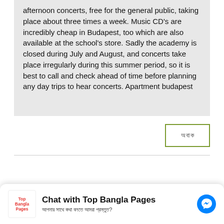afternoon concerts, free for the general public, taking place about three times a week. Music CD's are incredibly cheap in Budapest, too which are also available at the school's store. Sadly the academy is closed during July and August, and concerts take place irregularly during this summer period, so it is best to call and check ahead of time before planning any day trips to hear concerts. Apartment budapest
অবাক
I think you should add www.trendy-tracker.com in your top 30 online shop
Chat with Top Bangla Pages
আপনার সাথে কথা বলতে আমরা প্রস্তুত?